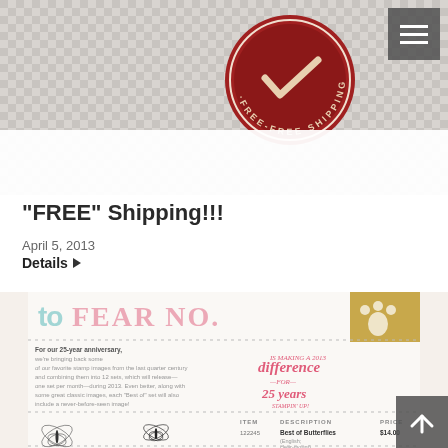[Figure (illustration): A red/dark-red circular badge or seal with text 'FREE SHIPPING' and a checkmark, on a checkered background]
“FREE” Shipping!!!
April 5, 2013
Details ►
[Figure (illustration): Promotional panel for Stampin' Up 25-year anniversary 'Best of Butterflies' stamp set, showing large golden text, dotted borders, anniversary text block, decorative script badge, butterfly illustrations, and a product table with ITEM, DESCRIPTION, PRICE columns showing item 122245 Best of Butterflies $14.00]